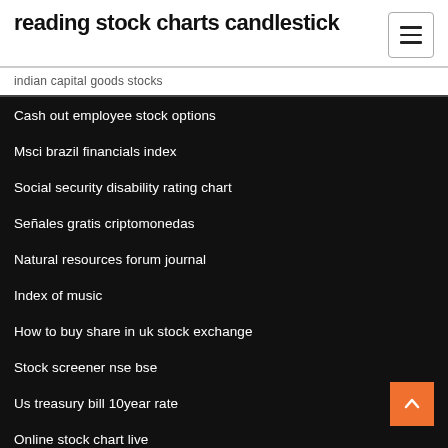reading stock charts candlestick
indian capital goods stocks
Cash out employee stock options
Msci brazil financials index
Social security disability rating chart
Señales gratis criptomonedas
Natural resources forum journal
Index of music
How to buy share in uk stock exchange
Stock screener nse bse
Us treasury bill 10year rate
Online stock chart live